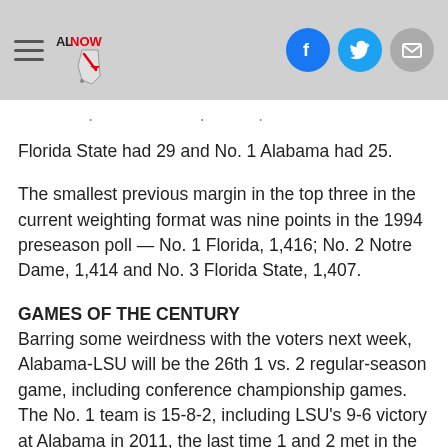ALNow logo with hamburger menu and social icons (Facebook, Twitter, Email)
Florida State had 29 and No. 1 Alabama had 25.
The smallest previous margin in the top three in the current weighting format was nine points in the 1994 preseason poll — No. 1 Florida, 1,416; No. 2 Notre Dame, 1,414 and No. 3 Florida State, 1,407.
GAMES OF THE CENTURY
Barring some weirdness with the voters next week, Alabama-LSU will be the 26th 1 vs. 2 regular-season game, including conference championship games. The No. 1 team is 15-8-2, including LSU's 9-6 victory at Alabama in 2011, the last time 1 and 2 met in the